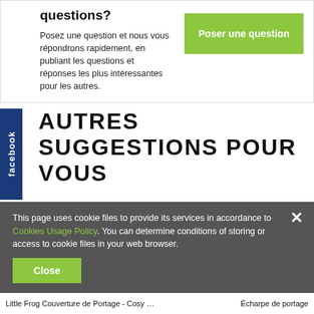questions?
Posez une question et nous vous répondrons rapidement, en publiant les questions et réponses les plus intéressantes pour les autres.
[Figure (other): Green button labeled 'Poser une question']
[Figure (other): Facebook vertical tab on left side]
AUTRES SUGGESTIONS POUR VOUS
This page uses cookie files to provide its services in accordance to Cookies Usage Policy. You can determine conditions of storing or access to cookie files in your web browser.
[Figure (other): Green 'Close' button in cookie banner]
Little Frog Couverture de Portage - Cosy Frog GRIS
Écharpe de portage